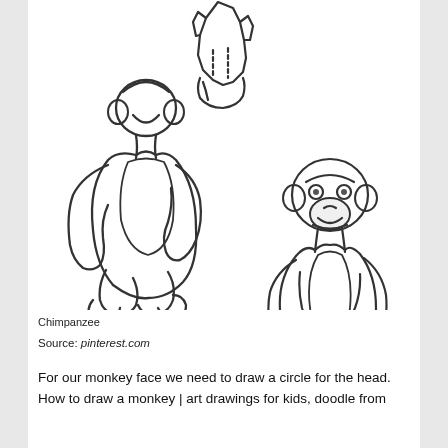[Figure (illustration): Line drawings of chimpanzees/monkeys: a sitting monkey outline on the left (simple, no facial detail), a partial sketch of hands/feet at the top center, and a more detailed sitting monkey on the right with facial features including eyes, nose, and smile.]
Chimpanzee
Source: pinterest.com
For our monkey face we need to draw a circle for the head. How to draw a monkey | art drawings for kids, doodle from